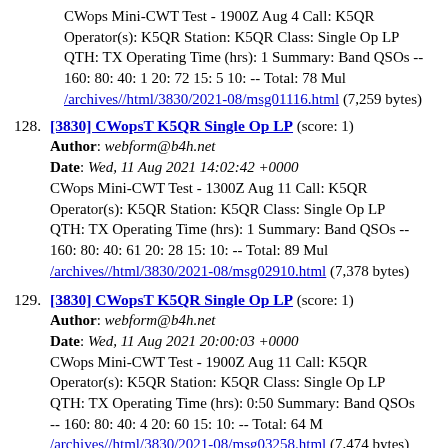CWops Mini-CWT Test - 1900Z Aug 4 Call: K5QR Operator(s): K5QR Station: K5QR Class: Single Op LP QTH: TX Operating Time (hrs): 1 Summary: Band QSOs -- 160: 80: 40: 1 20: 72 15: 5 10: -- Total: 78 Mul /archives//html/3830/2021-08/msg01116.html (7,259 bytes)
128. [3830] CWopsT K5QR Single Op LP (score: 1)
Author: webform@b4h.net
Date: Wed, 11 Aug 2021 14:02:42 +0000
CWops Mini-CWT Test - 1300Z Aug 11 Call: K5QR Operator(s): K5QR Station: K5QR Class: Single Op LP QTH: TX Operating Time (hrs): 1 Summary: Band QSOs -- 160: 80: 40: 61 20: 28 15: 10: -- Total: 89 Mul /archives//html/3830/2021-08/msg02910.html (7,378 bytes)
129. [3830] CWopsT K5QR Single Op LP (score: 1)
Author: webform@b4h.net
Date: Wed, 11 Aug 2021 20:00:03 +0000
CWops Mini-CWT Test - 1900Z Aug 11 Call: K5QR Operator(s): K5QR Station: K5QR Class: Single Op LP QTH: TX Operating Time (hrs): 0:50 Summary: Band QSOs -- 160: 80: 40: 4 20: 60 15: 10: -- Total: 64 M /archives//html/3830/2021-08/msg03258.html (7,474 bytes)
130. [3830] CWopsT K5QR Single Op LP (score: 1)